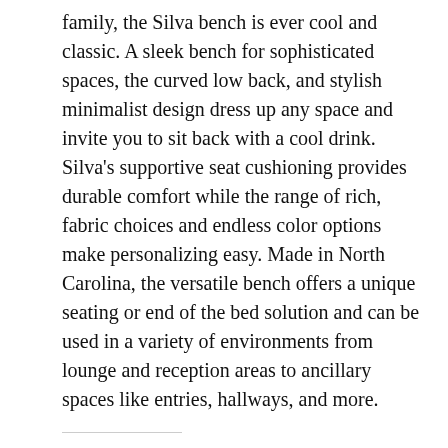family, the Silva bench is ever cool and classic. A sleek bench for sophisticated spaces, the curved low back, and stylish minimalist design dress up any space and invite you to sit back with a cool drink. Silva's supportive seat cushioning provides durable comfort while the range of rich, fabric choices and endless color options make personalizing easy. Made in North Carolina, the versatile bench offers a unique seating or end of the bed solution and can be used in a variety of environments from lounge and reception areas to ancillary spaces like entries, hallways, and more.
Share this:
[Figure (illustration): Two circular social media icons: Twitter (blue) and Facebook (blue)]
Like this: